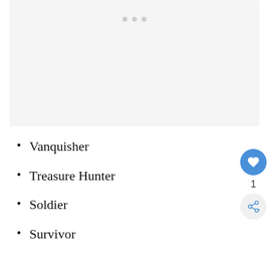[Figure (other): Light gray placeholder image area with three small gray dots indicating a carousel or image slider]
Vanquisher
Treasure Hunter
Soldier
Survivor